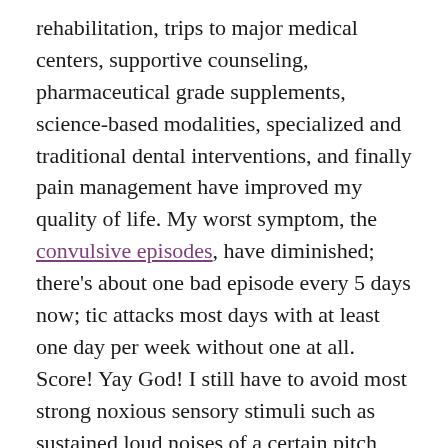rehabilitation, trips to major medical centers, supportive counseling, pharmaceutical grade supplements, science-based modalities, specialized and traditional dental interventions, and finally pain management have improved my quality of life. My worst symptom, the convulsive episodes, have diminished; there's about one bad episode every 5 days now; tic attacks most days with at least one day per week without one at all. Score! Yay God! I still have to avoid most strong noxious sensory stimuli such as sustained loud noises of a certain pitch and some types of mold that grow inside buildings, homes. We practice a version of extreme avoidance to make our home (and travel trailer when on the road) as safe for me as possible. The ongoing re-testing and treatments are still very expensive, limiting our budget for other projects and interests. The ongoing whacks of illness